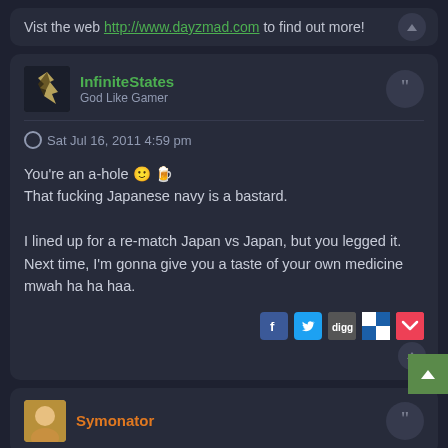Vist the web http://www.dayzmad.com to find out more!
InfiniteStates
God Like Gamer
Sat Jul 16, 2011 4:59 pm
You're an a-hole 🙂
That fucking Japanese navy is a bastard.

I lined up for a re-match Japan vs Japan, but you legged it. Next time, I'm gonna give you a taste of your own medicine mwah ha ha haa.
Symonator